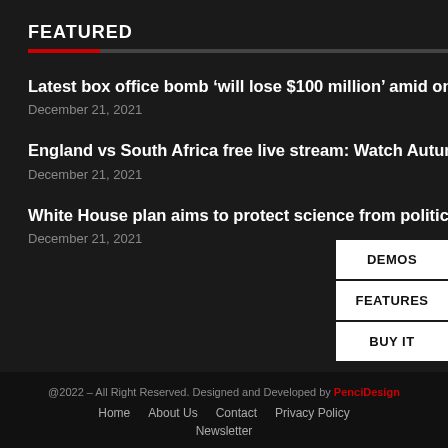FEATURED
Latest box office bomb ‘will lose $100 million’ amid ongoing pandemic
December 21, 2021
England vs South Africa free live stream: Watch Autumn Series online
December 21, 2021
White House plan aims to protect science from politics with new approach
December 21, 2021
@2022 – All Right Reserved. Designed and Developed by PenciDesign
Home  About Us  Contact  Privacy Policy  Newsletter